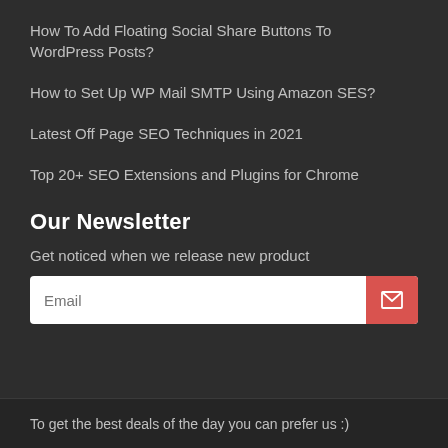How To Add Floating Social Share Buttons To WordPress Posts?
How to Set Up WP Mail SMTP Using Amazon SES?
Latest Off Page SEO Techniques in 2021
Top 20+ SEO Extensions and Plugins for Chrome
Our Newsletter
Get noticed when we release new product
Email
To get the best deals of the day you can prefer us :)